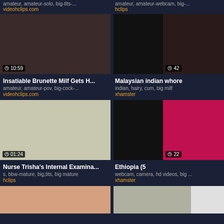amateur, amateur-solo, big-tits-...
videohclips.com
amateur, amateur-webcam, big-...
hclips
[Figure (photo): Video thumbnail with duration badge 10:59]
[Figure (photo): Video thumbnail with duration badge 42]
Insatiable Brunette Milf Gets H...
amateur, amateur-pov, big-cock-...
videohclips.com
Malaysian indian whore
indian, hairy, cum, big milf
xhamster
[Figure (photo): Video thumbnail with duration badge 01:24]
[Figure (photo): Video thumbnail with duration badge 22]
Nurse Trisha's Internal Examina...
s, bbw-mature, big,tits, big mature
hclips
Ethiopia (5
webcam, camera, hd videos, big ...
xhamster
[Figure (photo): Partial thumbnail bottom left]
[Figure (photo): Partial thumbnail bottom right]